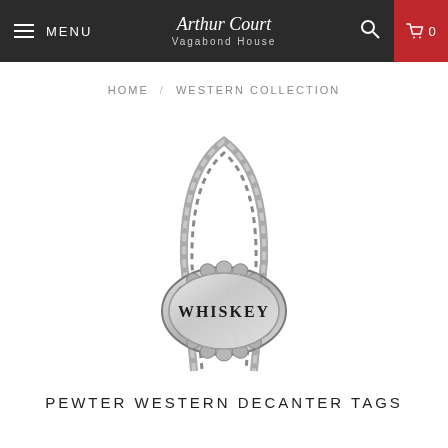MENU | Arthur Court Vagabond House | 0
HOME / WESTERN COLLECTION
[Figure (photo): A pewter decanter tag with a scalloped oval shape engraved with 'WHISKEY', hanging from a silver chain loop]
PEWTER WESTERN DECANTER TAGS